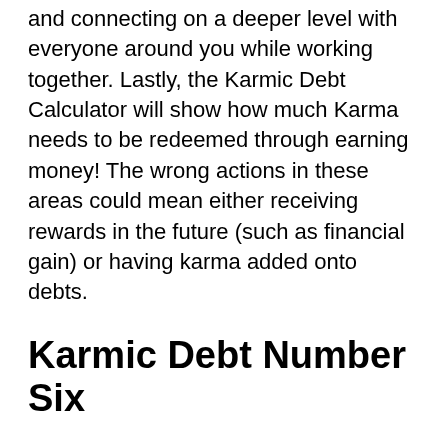and connecting on a deeper level with everyone around you while working together. Lastly, the Karmic Debt Calculator will show how much Karma needs to be redeemed through earning money! The wrong actions in these areas could mean either receiving rewards in the future (such as financial gain) or having karma added onto debts.
Karmic Debt Number Six
The Number Six is related to how we handle money. If you're constantly in debt, it means that your financial situation will be a struggle for you and your family until things change. However, if you make use of the Karmic Debt Calculator and find out what number needs